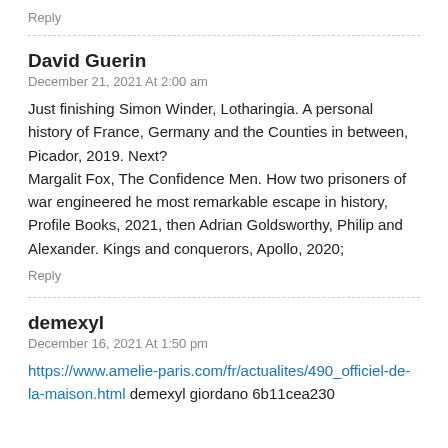Reply
David Guerin
December 21, 2021 At 2:00 am
Just finishing Simon Winder, Lotharingia. A personal history of France, Germany and the Counties in between, Picador, 2019. Next?
Margalit Fox, The Confidence Men. How two prisoners of war engineered he most remarkable escape in history, Profile Books, 2021, then Adrian Goldsworthy, Philip and Alexander. Kings and conquerors, Apollo, 2020;
Reply
demexyl
December 16, 2021 At 1:50 pm
https://www.amelie-paris.com/fr/actualites/490_officiel-de-la-maison.html demexyl giordano 6b11cea230